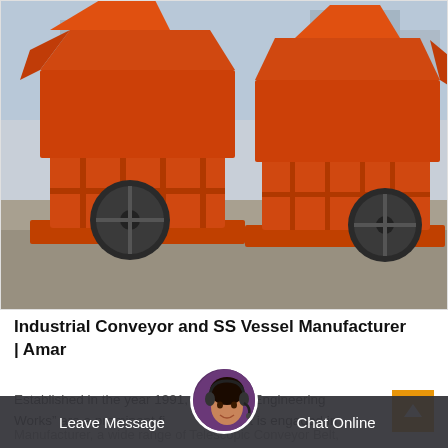[Figure (photo): Two large orange industrial hammer/impact crushers sitting outdoors on a concrete surface, with blue sky and buildings in the background. The machines are painted bright orange with black wheels/flywheels.]
Industrial Conveyor and SS Vessel Manufacturer | Amar
Established in the year 1991, we “Amar Engineering Works” are a prominent firm that is engaged in Manufacturer a wide range of Telescopic Conveyor Belt,
[Figure (photo): Chat support avatar: a woman wearing a headset microphone, overlaid on the bottom bar area.]
Leave Message   Chat Online